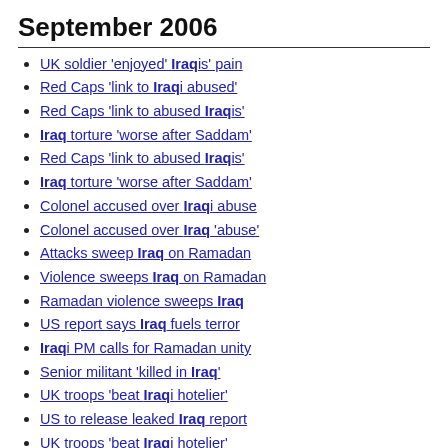September 2006
UK soldier 'enjoyed' Iraqis' pain
Red Caps 'link to Iraqi abused'
Red Caps 'link to abused Iraqis'
Iraq torture 'worse after Saddam'
Red Caps 'link to abused Iraqis'
Iraq torture 'worse after Saddam'
Colonel accused over Iraqi abuse
Colonel accused over Iraq 'abuse'
Attacks sweep Iraq on Ramadan
Violence sweeps Iraq on Ramadan
Ramadan violence sweeps Iraq
US report says Iraq fuels terror
Iraqi PM calls for Ramadan unity
Senior militant 'killed in Iraq'
UK troops 'beat Iraqi hotelier'
US to release leaked Iraq report
UK troops 'beat Iraqi hotelier'
Iraq war fuels terror - US report